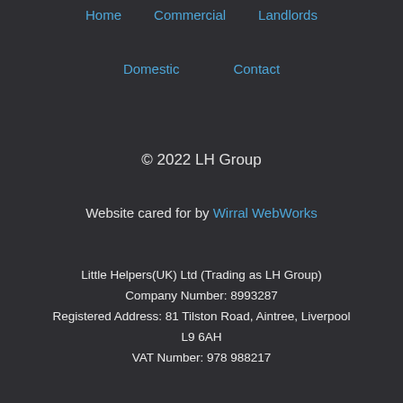Home  Commercial  Landlords
Domestic  Contact
© 2022 LH Group
Website cared for by Wirral WebWorks
Little Helpers(UK) Ltd (Trading as LH Group)
Company Number: 8993287
Registered Address: 81 Tilston Road, Aintree, Liverpool L9 6AH
VAT Number: 978 988217